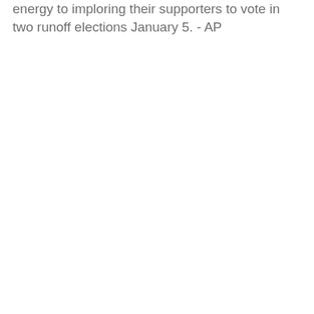energy to imploring their supporters to vote in two runoff elections January 5. - AP